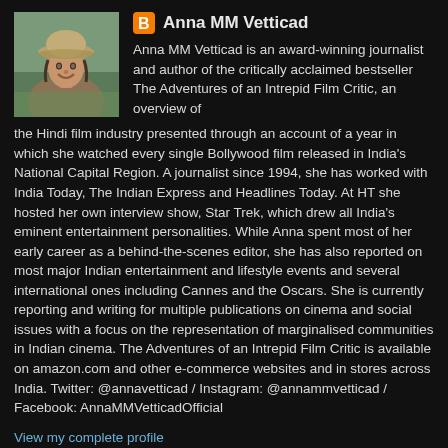[Figure (photo): Profile photo of Anna MM Vetticad — a woman wearing a hat, smiling, outdoors]
Anna MM Vetticad
Anna MM Vetticad is an award-winning journalist and author of the critically acclaimed bestseller The Adventures of an Intrepid Film Critic, an overview of the Hindi film industry presented through an account of a year in which she watched every single Bollywood film released in India's National Capital Region. A journalist since 1994, she has worked with India Today, The Indian Express and Headlines Today. At HT she hosted her own interview show, Star Trek, which drew all India's eminent entertainment personalities. While Anna spent most of her early career as a behind-the-scenes editor, she has also reported on most major Indian entertainment and lifestyle events and several international ones including Cannes and the Oscars. She is currently reporting and writing for multiple publications on cinema and social issues with a focus on the representation of marginalised communities in Indian cinema. The Adventures of an Intrepid Film Critic is available on amazon.com and other e-commerce websites and in stores across India. Twitter: @annavetticad / Instagram: @annammvetticad / Facebook: AnnaMMVetticadOfficial
View my complete profile